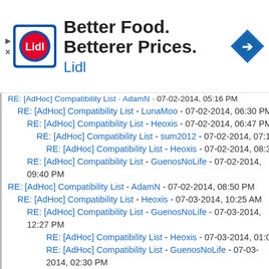[Figure (screenshot): Lidl advertisement banner with logo, tagline 'Better Food. Betterer Prices.' and navigation arrow icon]
RE: [AdHoc] Compatibility List - AdamN - 07-02-2014, 05:16 PM
RE: [AdHoc] Compatibility List - LunaMoo - 07-02-2014, 06:30 PM
RE: [AdHoc] Compatibility List - Heoxis - 07-02-2014, 06:47 PM
RE: [AdHoc] Compatibility List - sum2012 - 07-02-2014, 07:11 PM
RE: [AdHoc] Compatibility List - Heoxis - 07-02-2014, 08:39 PM
RE: [AdHoc] Compatibility List - GuenosNoLife - 07-02-2014, 09:40 PM
RE: [AdHoc] Compatibility List - AdamN - 07-02-2014, 08:50 PM
RE: [AdHoc] Compatibility List - Heoxis - 07-03-2014, 10:25 AM
RE: [AdHoc] Compatibility List - GuenosNoLife - 07-03-2014, 12:27 PM
RE: [AdHoc] Compatibility List - Heoxis - 07-03-2014, 01:08 PM
RE: [AdHoc] Compatibility List - GuenosNoLife - 07-03-2014, 02:30 PM
RE: [AdHoc] Compatibility List - AdamN - 07-03-2014, 06:57 AM
RE: [AdHoc] Compatibility List - LunaMoo - 07-03-2014, 08:01 AM
RE: [AdHoc] Compatibility List - captainobvious - 07-03-2014, 12:08 PM
RE: [AdHoc] Compatibility List - AdamN - 07-03-2014, 02:38 PM
RE: [AdHoc] Compatibility List - captainobvious - 07-04-2014, 11:17 AM